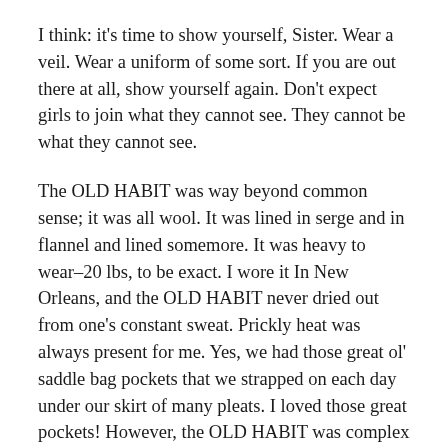I think: it's time to show yourself, Sister. Wear a veil. Wear a uniform of some sort. If you are out there at all, show yourself again. Don't expect girls to join what they cannot see. They cannot be what they cannot see.
The OLD HABIT was way beyond common sense; it was all wool. It was lined in serge and in flannel and lined somemore. It was heavy to wear–20 lbs, to be exact. I wore it In New Orleans, and the OLD HABIT never dried out from one's constant sweat. Prickly heat was always present for me. Yes, we had those great ol' saddle bag pockets that we strapped on each day under our skirt of many pleats. I loved those great pockets! However, the OLD HABIT was complex upon complex to make or to patch.
It has taken me time to see that women Religious need to wear something that identifies their religious habit...